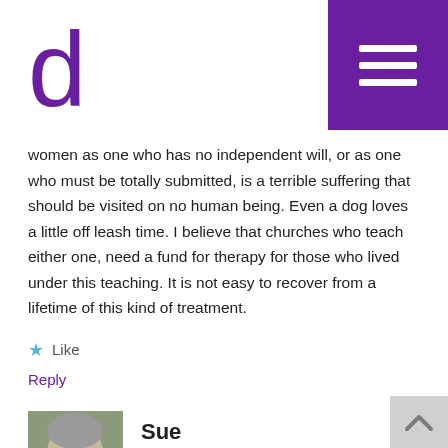[Figure (logo): Purple letter 'd' logo]
[Figure (other): Purple hamburger menu button in top right corner]
women as one who has no independent will, or as one who must be totally submitted, is a terrible suffering that should be visited on no human being. Even a dog loves a little off leash time. I believe that churches who teach either one, need a fund for therapy for those who lived under this teaching. It is not easy to recover from a lifetime of this kind of treatment.
★ Like
Reply
[Figure (photo): Avatar photo of Sue, a woman with short gray hair and glasses]
Sue
AUGUST 18, 2012 AT 4:55 AM
And Jesus sweat blood over his submission. That is an important detail. I do not accept that for a woman to be totally submitted, it is a delight. She often pretends because the cost of belittlement, exclusion and having your kids told that mommy is going to hell is a high cost. It is hell either way.